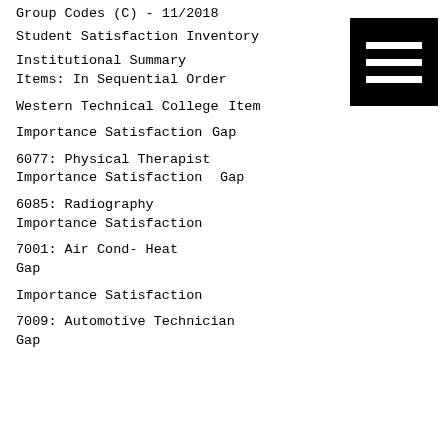Group Codes (C) - 11/2018
Student Satisfaction Inventory
Institutional Summary
Items: In Sequential Order
Western Technical College
Item
Importance Satisfaction
Gap
6077: Physical Therapist
Importance Satisfaction
Gap
6085: Radiography
Importance Satisfaction
7001: Air Cond- Heat
Gap
Importance Satisfaction
7009: Automotive Technician
Gap